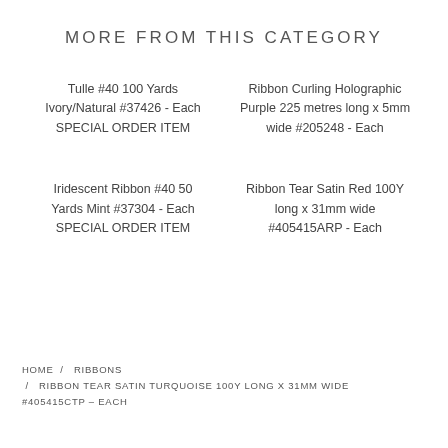MORE FROM THIS CATEGORY
Tulle #40 100 Yards Ivory/Natural #37426 - Each SPECIAL ORDER ITEM
Ribbon Curling Holographic Purple 225 metres long x 5mm wide #205248 - Each
Iridescent Ribbon #40 50 Yards Mint #37304 - Each SPECIAL ORDER ITEM
Ribbon Tear Satin Red 100Y long x 31mm wide #405415ARP - Each
HOME / RIBBONS / RIBBON TEAR SATIN TURQUOISE 100Y LONG X 31MM WIDE #405415CTP - EACH